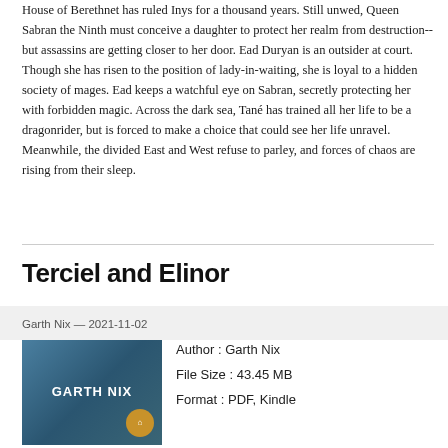House of Berethnet has ruled Inys for a thousand years. Still unwed, Queen Sabran the Ninth must conceive a daughter to protect her realm from destruction--but assassins are getting closer to her door. Ead Duryan is an outsider at court. Though she has risen to the position of lady-in-waiting, she is loyal to a hidden society of mages. Ead keeps a watchful eye on Sabran, secretly protecting her with forbidden magic. Across the dark sea, Tané has trained all her life to be a dragonrider, but is forced to make a choice that could see her life unravel. Meanwhile, the divided East and West refuse to parley, and forces of chaos are rising from their sleep.
Terciel and Elinor
Garth Nix — 2021-11-02
[Figure (illustration): Book cover for a Garth Nix novel showing a figure in blue-grey tones with author name displayed]
Author : Garth Nix
File Size : 43.45 MB
Format : PDF, Kindle